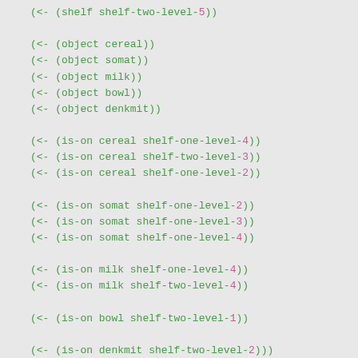(<- (shelf shelf-two-level-5))
(<- (object cereal))
(<- (object somat))
(<- (object milk))
(<- (object bowl))
(<- (object denkmit))
(<- (is-on cereal shelf-one-level-4))
(<- (is-on cereal shelf-two-level-3))
(<- (is-on cereal shelf-one-level-2))
(<- (is-on somat shelf-one-level-2))
(<- (is-on somat shelf-one-level-3))
(<- (is-on somat shelf-one-level-4))
(<- (is-on milk shelf-one-level-4))
(<- (is-on milk shelf-two-level-4))
(<- (is-on bowl shelf-two-level-1))
(<- (is-on denkmit shelf-two-level-2)))
(def-fact-group shelf-location-predicates ()